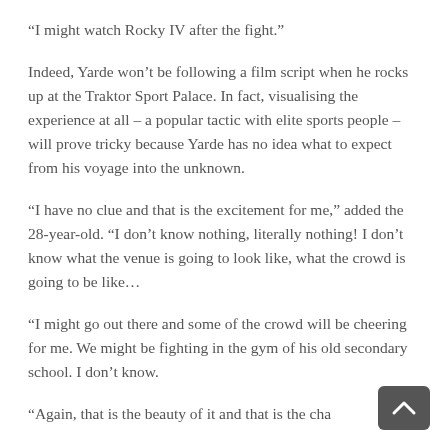“I might watch Rocky IV after the fight.”
Indeed, Yarde won’t be following a film script when he rocks up at the Traktor Sport Palace. In fact, visualising the experience at all – a popular tactic with elite sports people – will prove tricky because Yarde has no idea what to expect from his voyage into the unknown.
“I have no clue and that is the excitement for me,” added the 28-year-old. “I don’t know nothing, literally nothing! I don’t know what the venue is going to look like, what the crowd is going to be like…
“I might go out there and some of the crowd will be cheering for me. We might be fighting in the gym of his old secondary school. I don’t know.
“Again, that is the beauty of it and that is the cha…